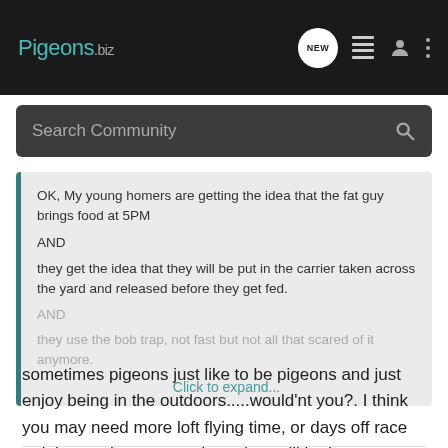Pigeons.biz
Search Community
OK, My young homers are getting the idea that the fat guy brings food at 5PM
AND
they get the idea that they will be put in the carrier taken across the yard and released before they get fed.
AND
they use the bob trap, not fast but not all that scared of it anymore.
Click to expand...
sometimes pigeons just like to be pigeons and just enjoy being in the outdoors.....would'nt you?. I think you may need more loft flying time, or days off race training so they can explore. they will be lean mean racing machines soon enough. let them have a bit of out time just because. IMO